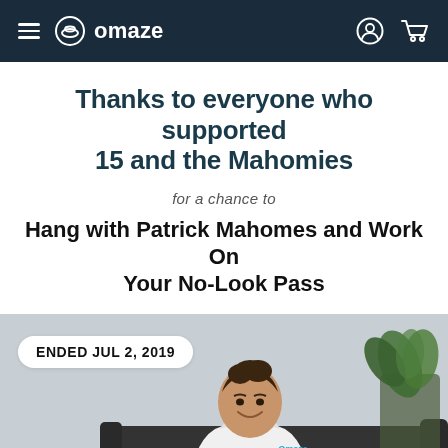omaze
Thanks to everyone who supported 15 and the Mahomies
for a chance to
Hang with Patrick Mahomes and Work On Your No-Look Pass
[Figure (photo): Photo of Patrick Mahomes smiling, wearing a white Omaze hoodie and holding a sign that reads LET'S PLAY. He is seated on a black couch with a plant in the background. An overlay badge reads ENDED JUL 2, 2019.]